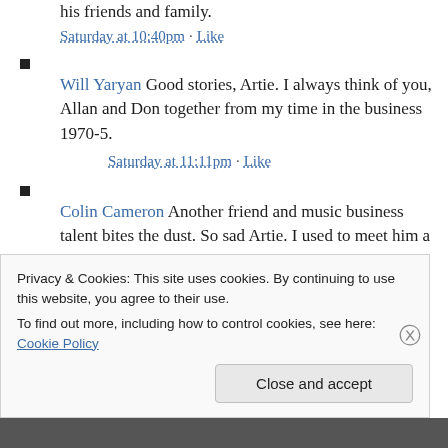his friends and family.
Saturday at 10:40pm · Like
Will Yaryan Good stories, Artie. I always think of you, Allan and Don together from my time in the business 1970-5.
Saturday at 11:11pm · Like
Colin Cameron Another friend and music business talent bites the dust. So sad Artie. I used to meet him a lot at the Troubadour and Hollywood parties. I
Privacy & Cookies: This site uses cookies. By continuing to use this website, you agree to their use. To find out more, including how to control cookies, see here: Cookie Policy
Close and accept